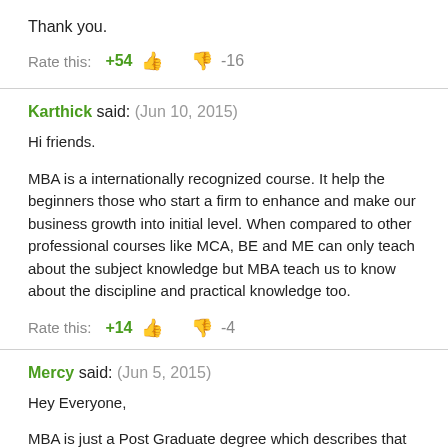Thank you.
Rate this:  +54 👍  👎 -16
Karthick said: (Jun 10, 2015)
Hi friends.

MBA is a internationally recognized course. It help the beginners those who start a firm to enhance and make our business growth into initial level. When compared to other professional courses like MCA, BE and ME can only teach about the subject knowledge but MBA teach us to know about the discipline and practical knowledge too.
Rate this:  +14 👍  👎 -4
Mercy said: (Jun 5, 2015)
Hey Everyone,

MBA is just a Post Graduate degree which describes that you are